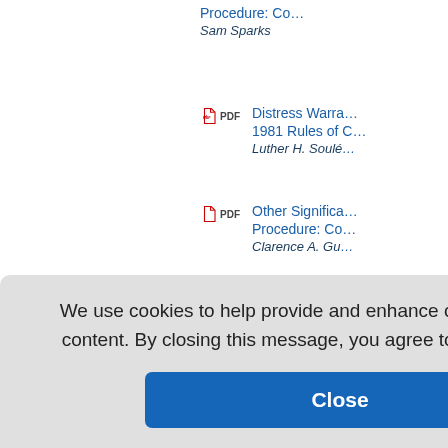Procedure: Co...
Sam Sparks
PDF — Distress Warra... 1981 Rules of C...
Luther H. Soulé
PDF — Other Significa... Procedure: Co...
Clarence A. Gu...
PDF — The Rules of Ci... Rules of Civil P...
Franklin Spear...
PDF — Appellate Proc... nents. ...es W. Ba...
luction 1... luction. ...e C. Wall...
niform C... ty in Tort... ut Requir...
Patricia Mary...
We use cookies to help provide and enhance our service and tailor content. By closing this message, you agree to the use of cookies.
Close